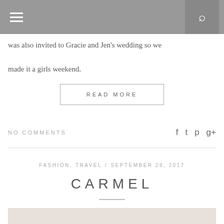Navigation bar with hamburger menu and search icon
was also invited to Gracie and Jen's wedding so we made it a girls weekend.
READ MORE
NO COMMENTS
FASHION,  TRAVEL / SEPTEMBER 28, 2017
CARMEL
[Figure (photo): Bottom portion of a photo, appears to be a white/light-colored building exterior]